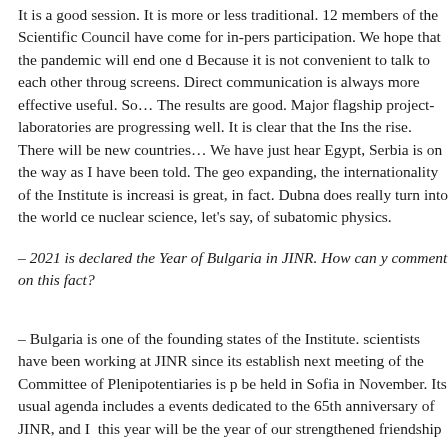It is a good session. It is more or less traditional. 12 members of the Scientific Council have come for in-person participation. We hope that the pandemic will end one day. Because it is not convenient to talk to each other through screens. Direct communication is always more effective and useful. So… The results are good. Major flagship projects and laboratories are progressing well. It is clear that the Institute is on the rise. There will be new countries… We have just heard about Egypt, Serbia is on the way as I have been told. The geography is expanding, the internationality of the Institute is increasing. This is great, in fact. Dubna does really turn into the world centre of nuclear science, let's say, of subatomic physics.
– 2021 is declared the Year of Bulgaria in JINR. How can you comment on this fact?
– Bulgaria is one of the founding states of the Institute. Bulgarian scientists have been working at JINR since its establishment. The next meeting of the Committee of Plenipotentiaries is planned to be held in Sofia in November. Its usual agenda includes a number of events dedicated to the 65th anniversary of JINR, and I believe this year will be the year of our strengthened friendship.